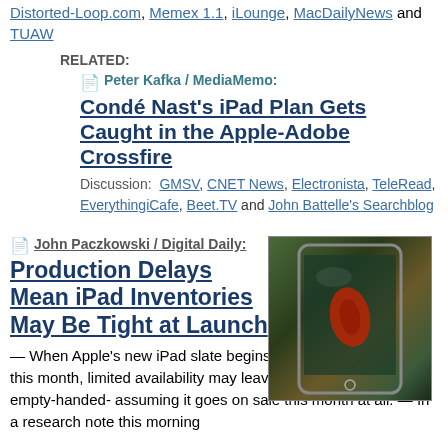Distorted-Loop.com, Memex 1.1, iLounge, MacDailyNews and TUAW
RELATED:
Peter Kafka / MediaMemo: Condé Nast's iPad Plan Gets Caught in the Apple-Adobe Crossfire
Discussion: GMSV, CNET News, Electronista, TeleRead, EverythingiCafe, Beet.TV and John Battelle's Searchblog
John Paczkowski / Digital Daily: Production Delays Mean iPad Inventories May Be Tight at Launch
[Figure (photo): Photo of an iPad tablet device]
— When Apple's new iPad slate begins to arrive at market later this month, limited availability may leave some early adopters empty-handed- assuming it goes on sale this month at all.  —  In a research note this morning